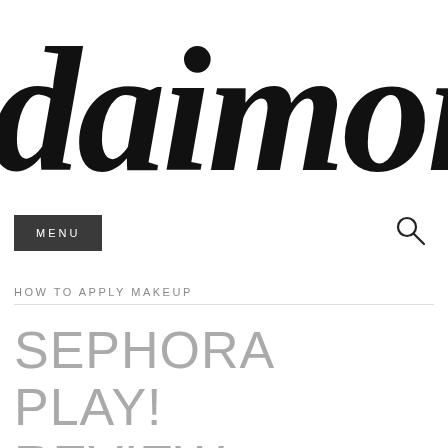[Figure (logo): Partial blog logo in large italic script font showing 'daimon' (cropped on left and right), black on white background]
MENU
HOW TO APPLY MAKEUP
SEPHORA PLAY! REVIEW